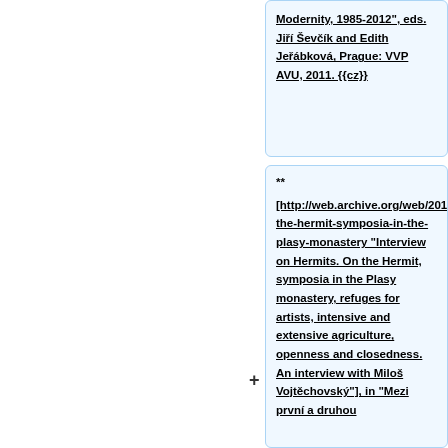Modernity, 1985-2012", eds. Jiří Ševčík and Edith Jeřábková, Prague: VVP AVU, 2011. {{cz}}
** [http://web.archive.org/web/20130515002620/http://makulatura.posterous.com/on-the-hermit-symposia-in-the-plasy-monastery "Interview on Hermits. On the Hermit, symposia in the Plasy monastery, refuges for artists, intensive and extensive agriculture, openness and closedness. An interview with Miloš Vojtěchovský"], in "Mezi první a druhou